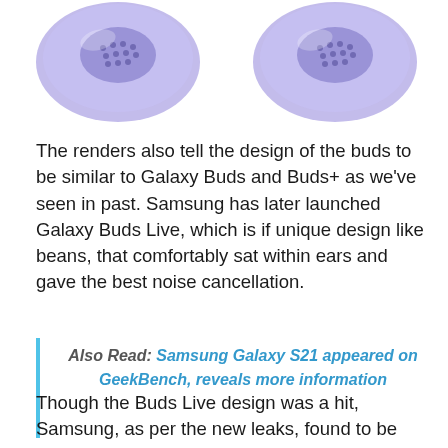[Figure (photo): Two purple/violet Samsung Galaxy Buds earbuds shown from above, side by side, showing the speaker grille and outer shell.]
The renders also tell the design of the buds to be similar to Galaxy Buds and Buds+ as we've seen in past. Samsung has later launched Galaxy Buds Live, which is if unique design like beans, that comfortably sat within ears and gave the best noise cancellation.
Also Read: Samsung Galaxy S21 appeared on GeekBench, reveals more information
Though the Buds Live design was a hit, Samsung, as per the new leaks, found to be following the old design of Galaxy Buds